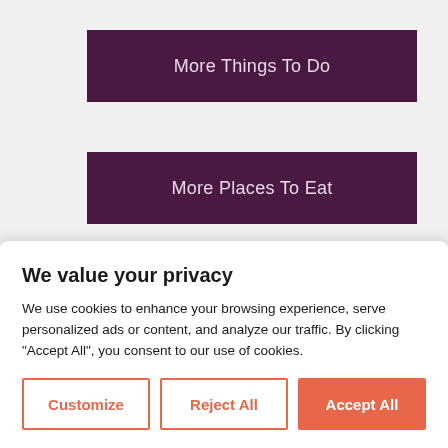More Things To Do
More Places To Eat
We value your privacy
We use cookies to enhance your browsing experience, serve personalized ads or content, and analyze our traffic. By clicking "Accept All", you consent to our use of cookies.
Customize
Reject All
Accept All